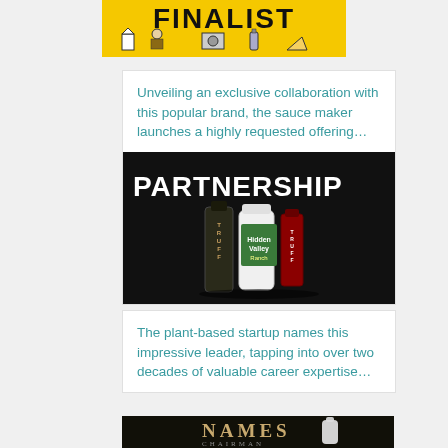[Figure (illustration): Yellow banner with FINALIST text and illustrated grocery/food product icons]
Unveiling an exclusive collaboration with this popular brand, the sauce maker launches a highly requested offering…
[Figure (photo): Dark background image with PARTNERSHIP text in white and TRUFF sauce bottles with Ranch dressing]
The plant-based startup names this impressive leader, tapping into over two decades of valuable career expertise…
[Figure (photo): Dark background with NAMES CHAIRMAN text in golden serif font and a milk bottle]